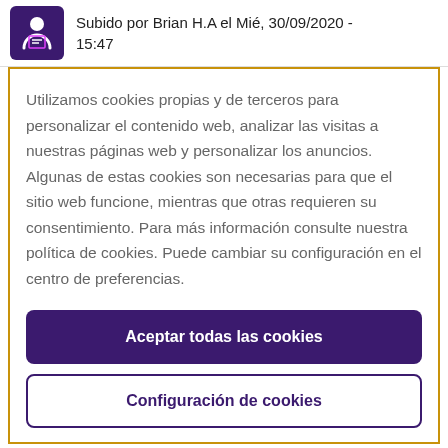Subido por Brian H.A el Mié, 30/09/2020 - 15:47
Utilizamos cookies propias y de terceros para personalizar el contenido web, analizar las visitas a nuestras páginas web y personalizar los anuncios. Algunas de estas cookies son necesarias para que el sitio web funcione, mientras que otras requieren su consentimiento. Para más información consulte nuestra política de cookies. Puede cambiar su configuración en el centro de preferencias.
Aceptar todas las cookies
Configuración de cookies